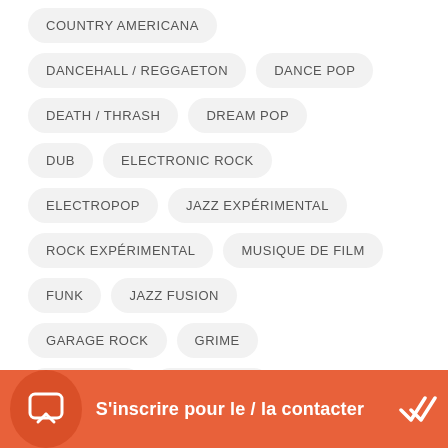COUNTRY AMERICANA
DANCEHALL / REGGAETON
DANCE POP
DEATH / THRASH
DREAM POP
DUB
ELECTRONIC ROCK
ELECTROPOP
JAZZ EXPÉRIMENTAL
ROCK EXPÉRIMENTAL
MUSIQUE DE FILM
FUNK
JAZZ FUSION
GARAGE ROCK
GRIME
HARDCORE
HARD ROCK
S'inscrire pour le / la contacter